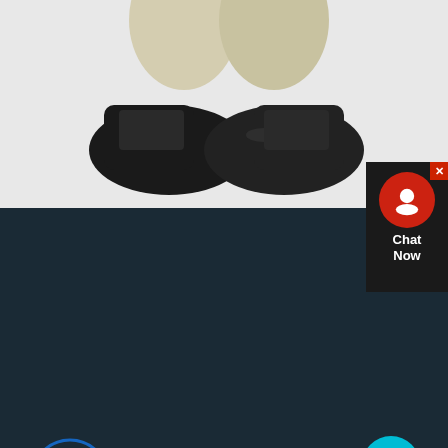[Figure (photo): Close-up photo of black boots/shoes on a light gray background]
[Figure (infographic): Chat Now widget with red circle icon showing a person silhouette, black background, with X close button]
[Figure (logo): TTService logo with circular arrow/cross symbol in blue and dark navy, with TTSERVICE text in white bold]
[Figure (other): Cyan circular chat bubble button with ellipsis icon]
Our service commitment is not a slogan but a firm action. To this end, we have established enormous, systematic, and standardized service assurance system to ensure timely and proper handling of each service